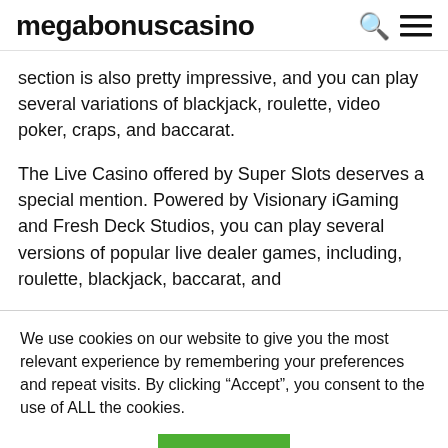megabonuscasino
section is also pretty impressive, and you can play several variations of blackjack, roulette, video poker, craps, and baccarat.
The Live Casino offered by Super Slots deserves a special mention. Powered by Visionary iGaming and Fresh Deck Studios, you can play several versions of popular live dealer games, including, roulette, blackjack, baccarat, and
We use cookies on our website to give you the most relevant experience by remembering your preferences and repeat visits. By clicking “Accept”, you consent to the use of ALL the cookies.
Cookie settings   ACCEPT